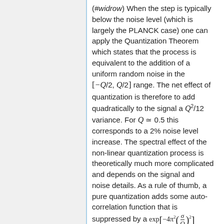(#widrow) When the step is typically below the noise level (which is largely the PLANCK case) one can apply the Quantization Theorem which states that the process is equivalent to the addition of a uniform random noise in the [−Q/2, Q/2] range. The net effect of quantization is therefore to add quadratically to the signal a Q²/12 variance. For Q ≃ 0.5 this corresponds to a 2% noise level increase. The spectral effect of the non-linear quantization process is theoretically much more complicated and depends on the signal and noise details. As a rule of thumb, a pure quantization adds some auto-correlation function that is suppressed by a exp[−4π²(σ/Q)²] factor #banta. Note however that PLANCK does not perform a pure